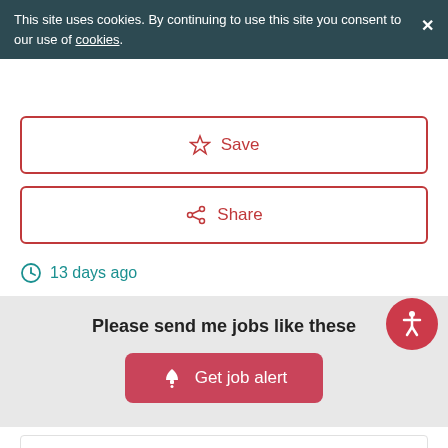This site uses cookies. By continuing to use this site you consent to our use of cookies.
[Figure (screenshot): Save button with star icon, red outline style]
[Figure (screenshot): Share button with share icon, red outline style]
13 days ago
Please send me jobs like these
[Figure (screenshot): Get job alert button with bell icon, pink/red background]
[Figure (logo): HSDC logo in black bordered box]